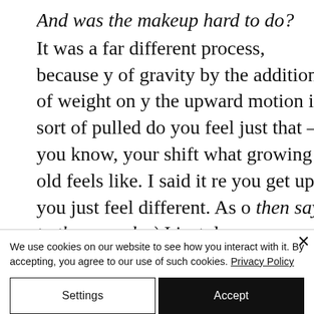And was the makeup hard to do? It was a far different process, because y of gravity by the addition of weight on y the upward motion is sort of pulled do you feel just that – you know, your shif what growing old feels like. I said it re you get up you just feel different. As o then says to the recorder) I just demons amazed we actually pulled it off, beca then when you get in, you think, my Go
We use cookies on our website to see how you interact with it. By accepting, you agree to our use of such cookies. Privacy Policy